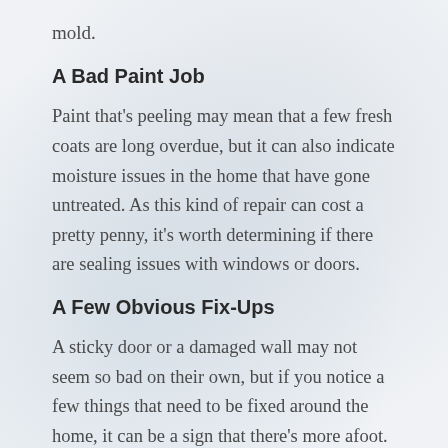mold.
A Bad Paint Job
Paint that's peeling may mean that a few fresh coats are long overdue, but it can also indicate moisture issues in the home that have gone untreated. As this kind of repair can cost a pretty penny, it's worth determining if there are sealing issues with windows or doors.
A Few Obvious Fix-Ups
A sticky door or a damaged wall may not seem so bad on their own, but if you notice a few things that need to be fixed around the home, it can be a sign that there's more afoot. If a homeowner has